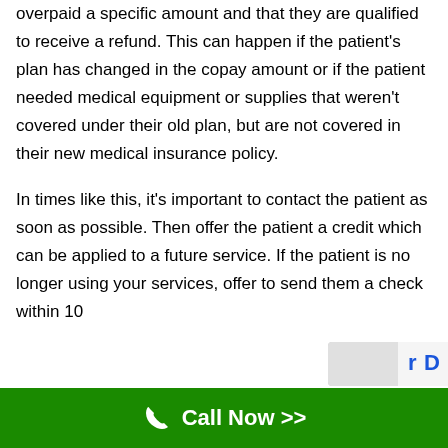recoupment request indicates that a patient overpaid a specific amount and that they are qualified to receive a refund. This can happen if the patient's plan has changed in the copay amount or if the patient needed medical equipment or supplies that weren't covered under their old plan, but are not covered in their new medical insurance policy.
In times like this, it's important to contact the patient as soon as possible. Then offer the patient a credit which can be applied to a future service. If the patient is no longer using your services, offer to send them a check within 10
Call Now >>